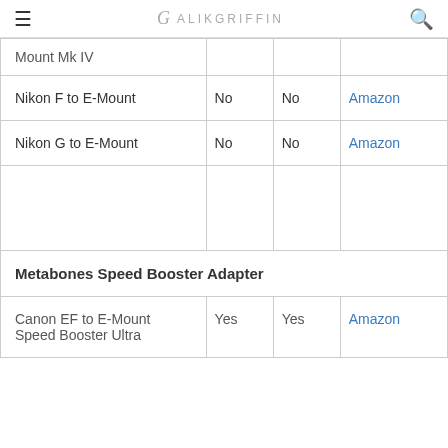ALIKGRIFFIN
| Mount Mk IV |  |  |  |
| Nikon F to E-Mount | No | No | Amazon |
| Nikon G to E-Mount | No | No | Amazon |
|  |  |  |  |
| Metabones Speed Booster Adapter |  |  |  |
| Canon EF to E-Mount Speed Booster Ultra | Yes | Yes | Amazon |